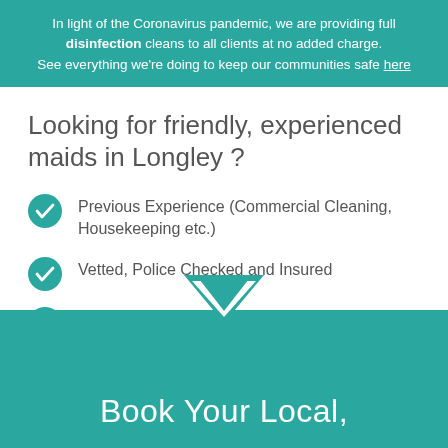In light of the Coronavirus pandemic, we are providing full disinfection cleans to all clients at no added charge. See everything we're doing to keep our communities safe here
Looking for friendly, experienced maids in Longley ?
Previous Experience (Commercial Cleaning, Housekeeping etc.)
Vetted, Police Checked and Insured
Happiness and Bond-Back Guaranteed
Flat $44 Per Hour For All Cleaning Plans
Book Your Local,